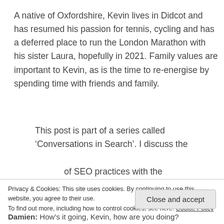A native of Oxfordshire, Kevin lives in Didcot and has resumed his passion for tennis, cycling and has a deferred place to run the London Marathon with his sister Laura, hopefully in 2021. Family values are important to Kevin, as is the time to re-energise by spending time with friends and family.
This post is part of a series called ‘Conversations in Search’. I discuss the
[partially visible line cut off]
Privacy & Cookies: This site uses cookies. By continuing to use this website, you agree to their use.
To find out more, including how to control cookies, see here: Cookie Policy
Close and accept
Damien: How’s it going, Kevin, how are you doing?